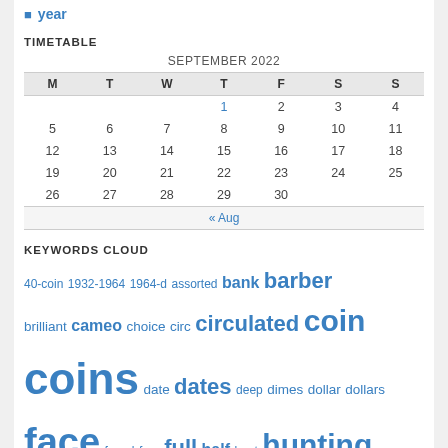year
TIMETABLE
| M | T | W | T | F | S | S |
| --- | --- | --- | --- | --- | --- | --- |
|  |  |  | 1 | 2 | 3 | 4 |
| 5 | 6 | 7 | 8 | 9 | 10 | 11 |
| 12 | 13 | 14 | 15 | 16 | 17 | 18 |
| 19 | 20 | 21 | 22 | 23 | 24 | 25 |
| 26 | 27 | 28 | 29 | 30 |  |  |
KEYWORDS CLOUD
40-coin 1932-1964 1964-d assorted bank barber brilliant cameo choice circ circulated coin coins date dates deep dimes dollar dollars face found free full half hunt hunting liberty mint mixed nice original proof